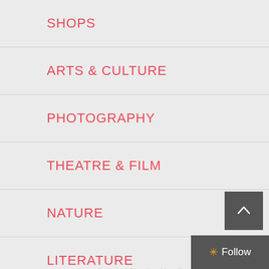SHOPS
ARTS & CULTURE
PHOTOGRAPHY
THEATRE & FILM
NATURE
LITERATURE
COMEDY
TECHNOLOGY
LOADING
[Figure (other): Scroll-to-top button with upward chevron arrow on dark grey background, and a Follow button with orange asterisk star icon on dark grey background]